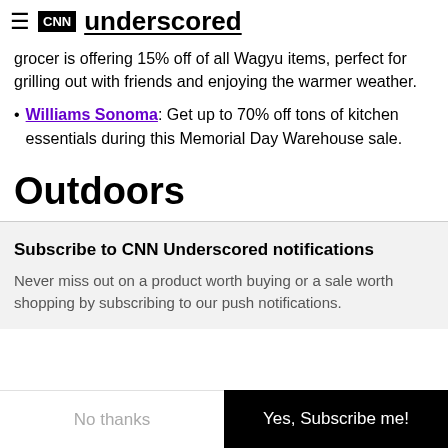CNN Underscored
grocer is offering 15% off of all Wagyu items, perfect for grilling out with friends and enjoying the warmer weather.
Williams Sonoma: Get up to 70% off tons of kitchen essentials during this Memorial Day Warehouse sale.
Outdoors
Subscribe to CNN Underscored notifications
Never miss out on a product worth buying or a sale worth shopping by subscribing to our push notifications.
No thanks | Yes, Subscribe me!